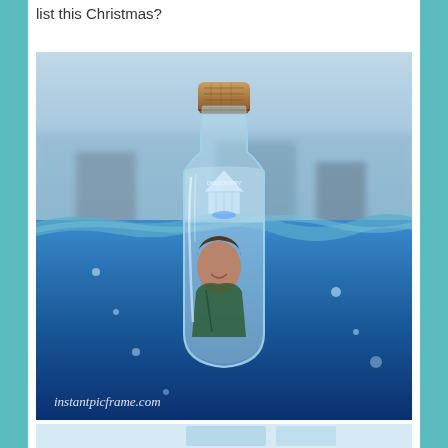list this Christmas?
[Figure (photo): A glass bottle with a cork stopper floating half-submerged in blue water. Inside the bottle is a photo of a person (woman smiling) and what appears to be a building/structure above the waterline. The bottle has 'Discovery' text on it. The watermark 'instantpicframe.com' appears at the bottom left of the image.]
[Figure (photo): Partial view of another image at the bottom of the page, showing a light blue/teal colored frame or object.]